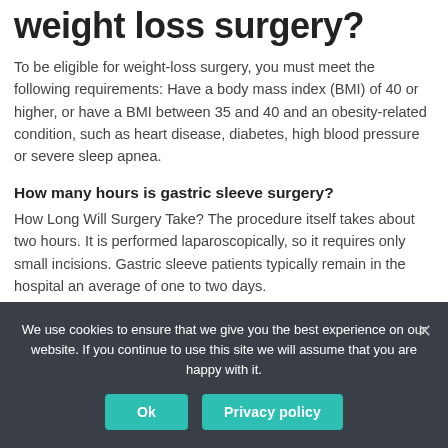weight loss surgery?
To be eligible for weight-loss surgery, you must meet the following requirements: Have a body mass index (BMI) of 40 or higher, or have a BMI between 35 and 40 and an obesity-related condition, such as heart disease, diabetes, high blood pressure or severe sleep apnea.
How many hours is gastric sleeve surgery?
How Long Will Surgery Take? The procedure itself takes about two hours. It is performed laparoscopically, so it requires only small incisions. Gastric sleeve patients typically remain in the hospital an average of one to two days.
What is required before gastric
We use cookies to ensure that we give you the best experience on our website. If you continue to use this site we will assume that you are happy with it.